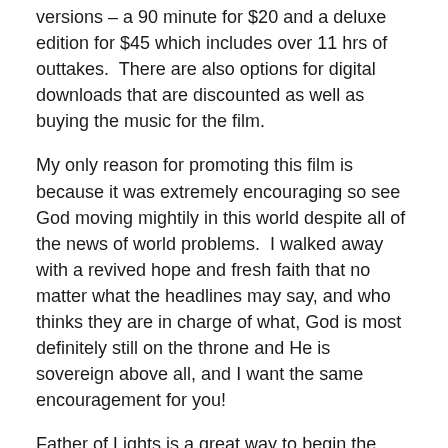versions – a 90 minute for $20 and a deluxe edition for $45 which includes over 11 hrs of outtakes.  There are also options for digital downloads that are discounted as well as buying the music for the film.
My only reason for promoting this film is because it was extremely encouraging so see God moving mightily in this world despite all of the news of world problems.  I walked away with a revived hope and fresh faith that no matter what the headlines may say, and who thinks they are in charge of what, God is most definitely still on the throne and He is sovereign above all, and I want the same encouragement for you!
Father of Lights is a great way to begin the new year.  A word of caution…you will never be the same again after seeing this film.  Are you in?